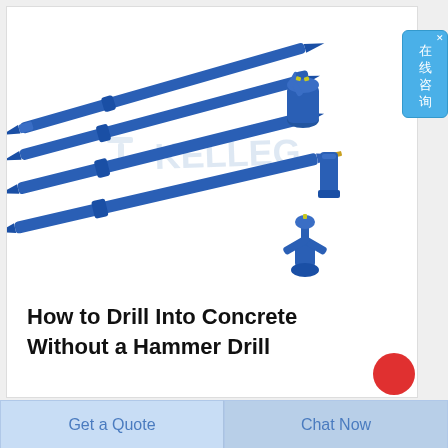[Figure (photo): Blue drill rods and drill bits (including cross-bit and Y-bit styles) arranged diagonally on a white background, with a watermark reading KELLEG. Products are steel blue colored mining/construction drilling tools.]
How to Drill Into Concrete Without a Hammer Drill
[Figure (infographic): Side widget with Chinese text '在线咨询' (Online Consultation) on a light blue rounded rectangle background with a small X close button]
Get a Quote
Chat Now